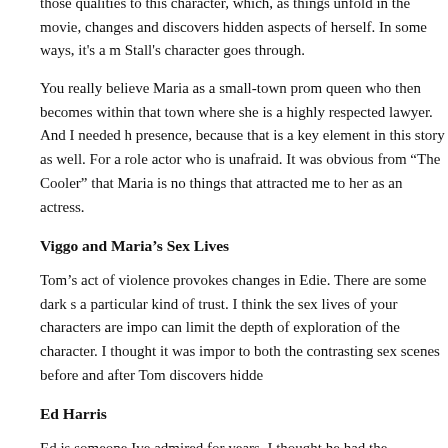those qualities to this character, which, as things unfold in the movie, changes and discovers hidden aspects of herself. In some ways, it's a mirror of what Stall's character goes through.
You really believe Maria as a small-town prom queen who then becomes a pillar within that town where she is a highly respected lawyer. And I needed her physical presence, because that is a key element in this story as well. For a role like this I need an actor who is unafraid. It was obvious from “The Cooler” that Maria is not afraid, and that's one of the things that attracted me to her as an actress.
Viggo and Maria’s Sex Lives
Tom’s act of violence provokes changes in Edie. There are some dark scenes that require a particular kind of trust. I think the sex lives of your characters are important. A timid director can limit the depth of exploration of the character. I thought it was important to pay attention to both the contrasting sex scenes before and after Tom discovers hidde
Ed Harris
Ed is someone Ive admired for years. I thought he had the toughness, the charisma to carry off this character. I wanted him to be very real, very in... history of violence with the main character, which is why he appears in S... critical moment in the movie. Ed connected with Viggo in an intense wa...